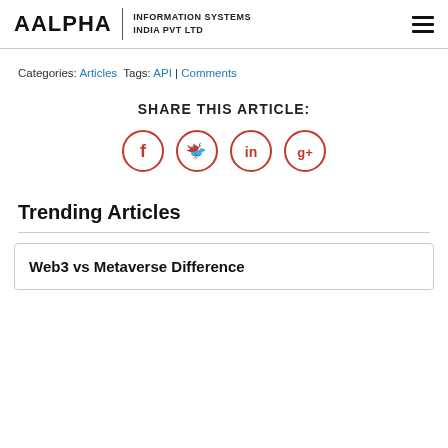AALPHA | INFORMATION SYSTEMS INDIA PVT LTD
Categories: Articles  Tags: API | Comments
SHARE THIS ARTICLE:
[Figure (infographic): Four social media share icons in red circle outlines: Facebook, Twitter, LinkedIn, Google+]
Trending Articles
Web3 vs Metaverse Difference